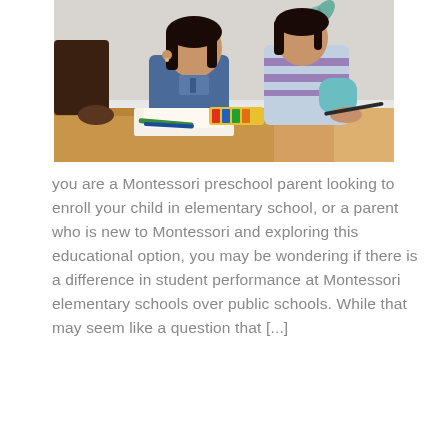[Figure (photo): Two children sitting at a wooden table working on drawings/crafts in a classroom setting. A third child is partially visible on the left. Colorful art supplies and papers are on the table. A decorative leaf shape is visible on the white wall behind them.]
you are a Montessori preschool parent looking to enroll your child in elementary school, or a parent who is new to Montessori and exploring this educational option, you may be wondering if there is a difference in student performance at Montessori elementary schools over public schools. While that may seem like a question that [...]